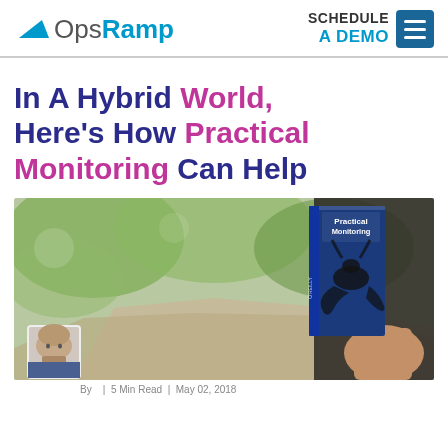OpsRamp | SCHEDULE A DEMO
In A Hybrid World, Here's How Practical Monitoring Can Help
[Figure (photo): A person holding the book 'Practical Monitoring' outdoors with blurred green background. An author avatar thumbnail is visible in the bottom left corner.]
By | 5 Min Read | May 02, 2018